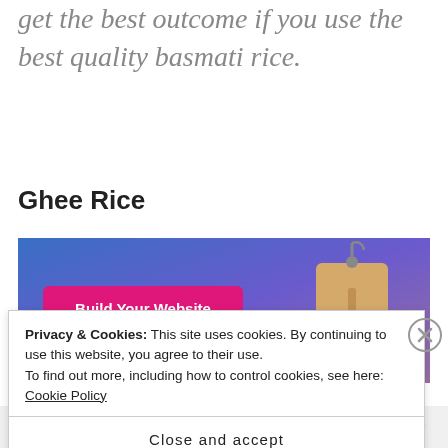get the best outcome if you use the best quality basmati rice.
Ghee Rice
[Figure (screenshot): Advertisement banner with blue-to-purple gradient background. A pink/magenta button labeled 'Build Your Website' on the left, and a tan/beige price tag icon on the right.]
Privacy & Cookies: This site uses cookies. By continuing to use this website, you agree to their use.
To find out more, including how to control cookies, see here: Cookie Policy
Close and accept
[Figure (screenshot): Bottom strip with purple triangle graphic on left, a dot in center, and a teal/cyan leaf logo on the right.]